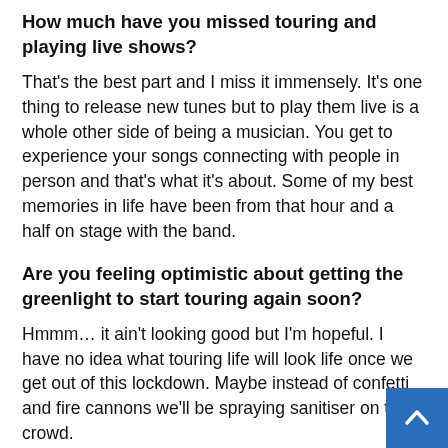How much have you missed touring and playing live shows?
That's the best part and I miss it immensely. It's one thing to release new tunes but to play them live is a whole other side of being a musician. You get to experience your songs connecting with people in person and that's what it's about. Some of my best memories in life have been from that hour and a half on stage with the band.
Are you feeling optimistic about getting the greenlight to start touring again soon?
Hmmm… it ain't looking good but I'm hopeful. I have no idea what touring life will look life once we get out of this lockdown. Maybe instead of confetti and fire cannons we'll be spraying sanitiser on the crowd.